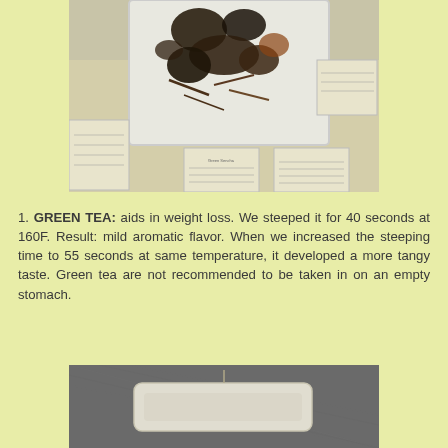[Figure (photo): Photograph of various loose tea leaves displayed on a white tray with informational cards placed around it on a light surface.]
1.  GREEN TEA:  aids in weight loss.  We steeped it for 40 seconds at 160F.  Result: mild aromatic flavor. When we increased the steeping time to 55 seconds at same temperature, it developed a more tangy taste. Green tea are not recommended to be taken in on an empty stomach.
[Figure (photo): Close-up photograph of a tea bag on a dark textured surface.]